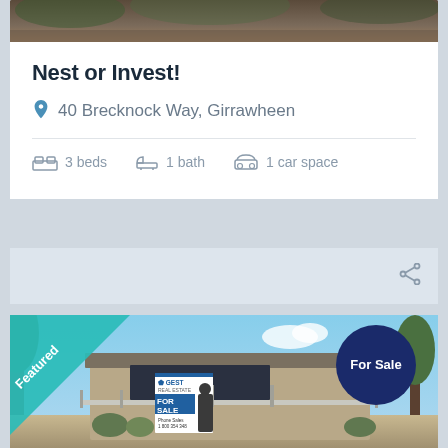[Figure (photo): Top strip of a house/landscape photo partially visible]
Nest or Invest!
40 Brecknock Way, Girrawheen
3 beds  1 bath  1 car space
[Figure (photo): Featured property photo showing a modern house with stone facade, 'For Sale' sign, a teal 'Featured' diagonal banner in top-left corner, and a dark navy circle badge saying 'For Sale' in the top-right]